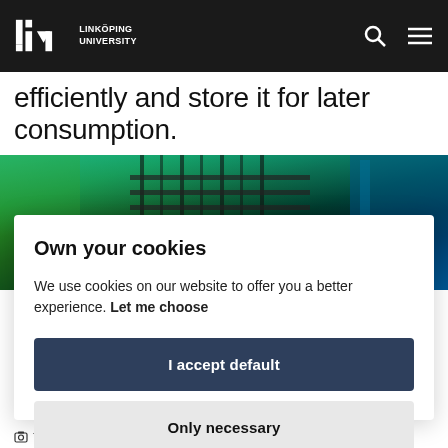Linköping University
efficiently and store it for later consumption.
[Figure (photo): Interior of a data center or industrial corridor with green and blue lighting, ceiling-mounted cable management systems visible.]
Own your cookies
We use cookies on our website to offer you a better experience. Let me choose
I accept default
Only necessary
Thor Balkhed